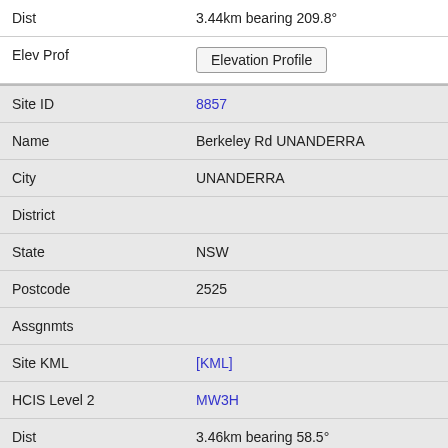| Field | Value |
| --- | --- |
| Dist | 3.44km bearing 209.8° |
| Elev Prof | Elevation Profile |
| Site ID | 8857 |
| Name | Berkeley Rd UNANDERRA |
| City | UNANDERRA |
| District |  |
| State | NSW |
| Postcode | 2525 |
| Assgnmts |  |
| Site KML | [KML] |
| HCIS Level 2 | MW3H |
| Dist | 3.46km bearing 58.5° |
| Elev Prof | Elevation Profile |
| Site ID | 9019593 |
| Name | Illawara Christian School - Cordeaux Campus 4 Tyalla Pl CORDEAUX HEIGHTS |
| City | CORDEAUX HEIGHTS |